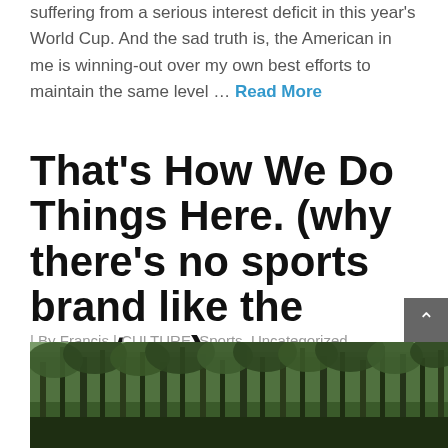suffering from a serious interest deficit in this year's World Cup. And the sad truth is, the American in me is winning-out over my own best efforts to maintain the same level … Read More
That's How We Do Things Here. (why there's no sports brand like the masters)
| By Francis | CULTURE, Sports, Uncategorized
[Figure (photo): Photograph of tall pine trees in a forest, likely Augusta National golf course, with green foliage and a wooded landscape.]